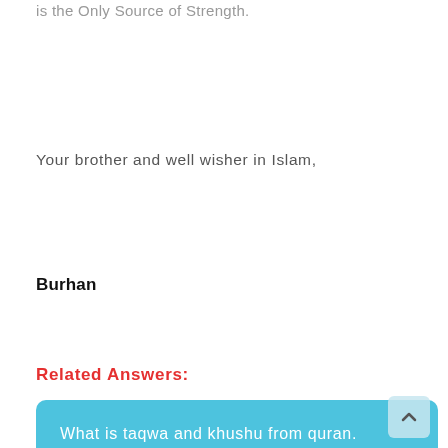is the Only Source of Strength.
Your brother and well wisher in Islam,
Burhan
Related Answers:
What is taqwa and khushu from quran.